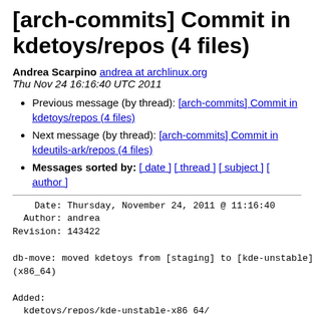[arch-commits] Commit in kdetoys/repos (4 files)
Andrea Scarpino andrea at archlinux.org
Thu Nov 24 16:16:40 UTC 2011
Previous message (by thread): [arch-commits] Commit in kdetoys/repos (4 files)
Next message (by thread): [arch-commits] Commit in kdeutils-ark/repos (4 files)
Messages sorted by: [ date ] [ thread ] [ subject ] [ author ]
Date: Thursday, November 24, 2011 @ 11:16:40
  Author: andrea
Revision: 143422

db-move: moved kdetoys from [staging] to [kde-unstable]
(x86_64)

Added:
  kdetoys/repos/kde-unstable-x86_64/
  kdetoys/repos/kde-unstable-x86_64/PKGBUILD
    (from rev 143277, kdetoys/repos/staging-
x86_64/PKGBUILD)